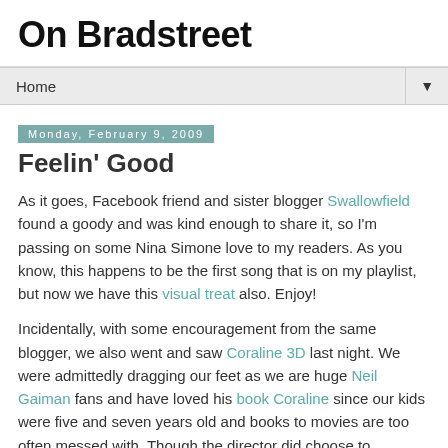On Bradstreet
Home
Monday, February 9, 2009
Feelin' Good
As it goes, Facebook friend and sister blogger Swallowfield found a goody and was kind enough to share it, so I'm passing on some Nina Simone love to my readers. As you know, this happens to be the first song that is on my playlist, but now we have this visual treat also. Enjoy!
Incidentally, with some encouragement from the same blogger, we also went and saw Coraline 3D last night. We were admittedly dragging our feet as we are huge Neil Gaiman fans and have loved his book Coraline since our kids were five and seven years old and books to movies are too often messed with. Though the director did choose to